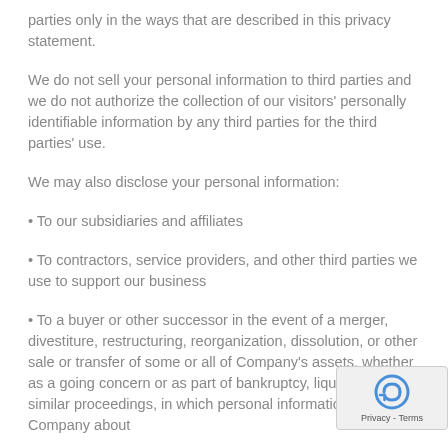parties only in the ways that are described in this privacy statement.
We do not sell your personal information to third parties and we do not authorize the collection of our visitors' personally identifiable information by any third parties for the third parties' use.
We may also disclose your personal information:
• To our subsidiaries and affiliates
• To contractors, service providers, and other third parties we use to support our business
• To a buyer or other successor in the event of a merger, divestiture, restructuring, reorganization, dissolution, or other sale or transfer of some or all of Company's assets, whether as a going concern or as part of bankruptcy, liquidation, or similar proceedings, in which personal information held by Company about